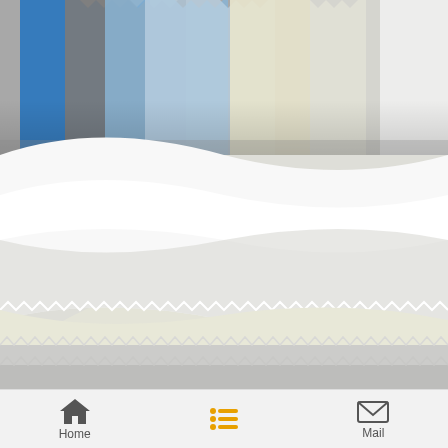[Figure (photo): Photograph of rolled fabric samples/swatches showing various colors including blue, gray, and neutral/cream tones with zigzag-cut edges stacked on top of each other]
Home  Mail